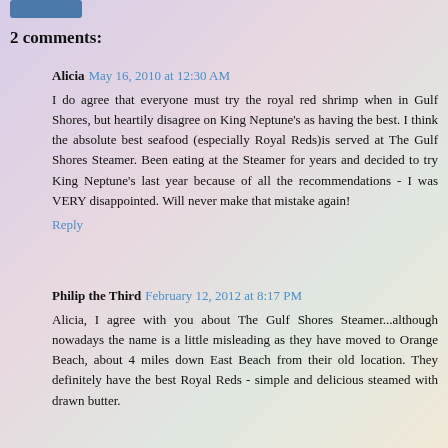2 comments:
Alicia May 16, 2010 at 12:30 AM
I do agree that everyone must try the royal red shrimp when in Gulf Shores, but heartily disagree on King Neptune's as having the best. I think the absolute best seafood (especially Royal Reds)is served at The Gulf Shores Steamer. Been eating at the Steamer for years and decided to try King Neptune's last year because of all the recommendations - I was VERY disappointed. Will never make that mistake again!
Reply
Philip the Third February 12, 2012 at 8:17 PM
Alicia, I agree with you about The Gulf Shores Steamer...although nowadays the name is a little misleading as they have moved to Orange Beach, about 4 miles down East Beach from their old location. They definitely have the best Royal Reds - simple and delicious steamed with drawn butter.